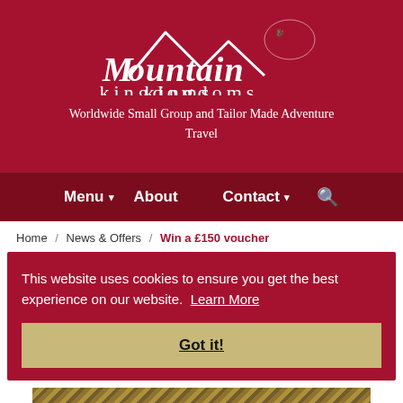[Figure (logo): Mountain Kingdoms logo with mountain peak illustration and dragon motif, white on dark red background]
Worldwide Small Group and Tailor Made Adventure Travel
Menu  About  Contact  Search
Home / News & Offers / Win a £150 voucher
This website uses cookies to ensure you get the best experience on our website. Learn More
Got it!